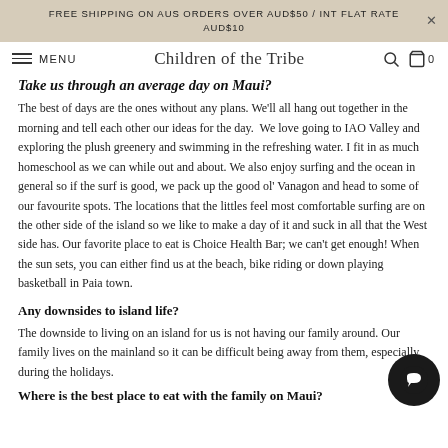FREE SHIPPING ON AUS ORDERS OVER AUD$50 / INT FLAT RATE AUD$10
MENU  Children of the Tribe  0
Take us through an average day on Maui?
The best of days are the ones without any plans. We'll all hang out together in the morning and tell each other our ideas for the day. We love going to IAO Valley and exploring the plush greenery and swimming in the refreshing water. I fit in as much homeschool as we can while out and about. We also enjoy surfing and the ocean in general so if the surf is good, we pack up the good ol' Vanagon and head to some of our favourite spots. The locations that the littles feel most comfortable surfing are on the other side of the island so we like to make a day of it and suck in all that the West side has. Our favorite place to eat is Choice Health Bar; we can't get enough! When the sun sets, you can either find us at the beach, bike riding or down playing basketball in Paia town.
Any downsides to island life?
The downside to living on an island for us is not having our family around. Our family lives on the mainland so it can be difficult being away from them, especially during the holidays.
Where is the best place to eat with the family on Maui?